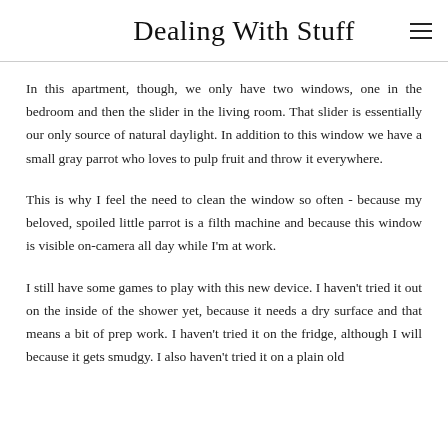Dealing With Stuff
In this apartment, though, we only have two windows, one in the bedroom and then the slider in the living room. That slider is essentially our only source of natural daylight. In addition to this window we have a small gray parrot who loves to pulp fruit and throw it everywhere.
This is why I feel the need to clean the window so often - because my beloved, spoiled little parrot is a filth machine and because this window is visible on-camera all day while I'm at work.
I still have some games to play with this new device. I haven't tried it out on the inside of the shower yet, because it needs a dry surface and that means a bit of prep work. I haven't tried it on the fridge, although I will because it gets smudgy. I also haven't tried it on a plain old